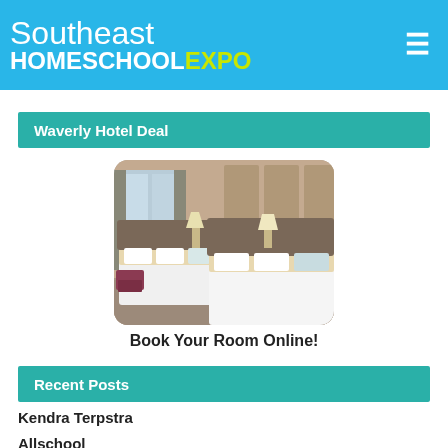Southeast HOMESCHOOLEXPO
Waverly Hotel Deal
[Figure (photo): Hotel room with two large beds with white bedding, brown headboards, and decorative pillows. Background shows curtained windows and warm lighting.]
Book Your Room Online!
Recent Posts
Kendra Terpstra
Allschool
Ellen Steding, EdS, LPC